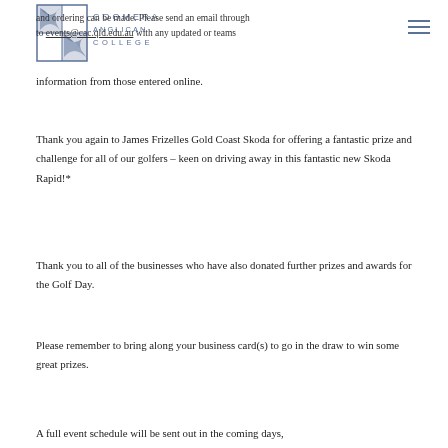COOMERA ANGLICAN COLLEGE
and ordering can be made. Please send an email through to events@cac.qld.edu.au with any updated or teams information from those entered online.
Thank you again to James Frizelles Gold Coast Skoda for offering a fantastic prize and challenge for all of our golfers – keen on driving away in this fantastic new Skoda Rapid!*
Thank you to all of the businesses who have also donated further prizes and awards for the Golf Day.
Please remember to bring along your business card(s) to go in the draw to win some great prizes.
A full event schedule will be sent out in the coming days,